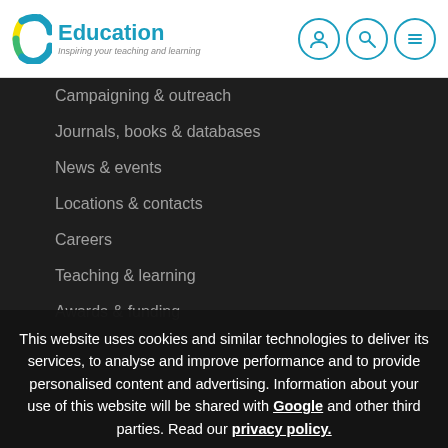[Figure (logo): C Education logo with 'Inspiring your teaching and learning' tagline and navigation icons (person, search, menu)]
Campaigning & outreach
Journals, books & databases
News & events
Locations & contacts
Careers
Teaching & learning
Awards & funding
This website uses cookies and similar technologies to deliver its services, to analyse and improve performance and to provide personalised content and advertising. Information about your use of this website will be shared with Google and other third parties. Read our privacy policy.
OK